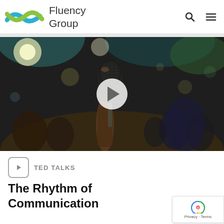Fluency Group
[Figure (photo): Close-up photograph of a microphone being held, with a blurred crowd and venue lighting in the background. A white play button overlay is centered on the image, indicating a video thumbnail.]
TED TALKS
The Rhythm of Communication